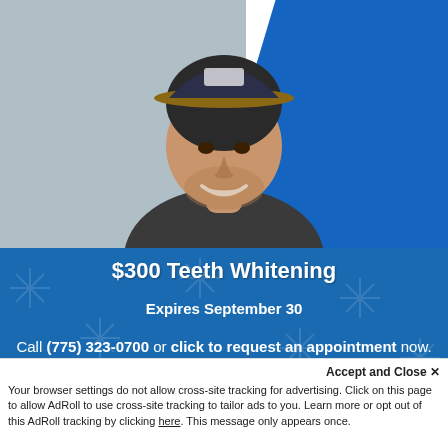[Figure (photo): Young man with dark cap smiling, wearing dark shirt, against gray and blue diagonal background]
$300 Teeth Whitening
Expires September 30
Call (775) 323-0700 or click to request an appointment now.
CONTACT US
CHAT
Accept and Close ✕
Your browser settings do not allow cross-site tracking for advertising. Click on this page to allow AdRoll to use cross-site tracking to tailor ads to you. Learn more or opt out of this AdRoll tracking by clicking here. This message only appears once.